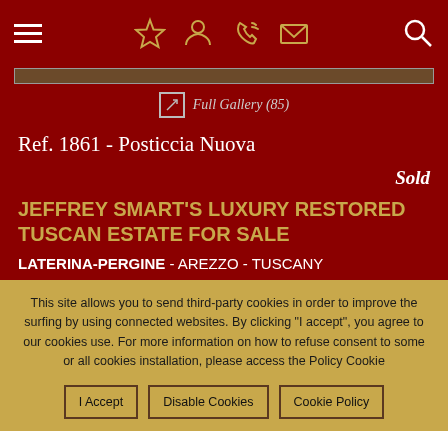Navigation bar with hamburger menu, bookmark/user/call/mail icons, and search icon
Full Gallery (85)
Ref. 1861 - Posticcia Nuova
Sold
JEFFREY SMART'S LUXURY RESTORED TUSCAN ESTATE FOR SALE
LATERINA-PERGINE - AREZZO - TUSCANY
This site allows you to send third-party cookies in order to improve the surfing by using connected websites. By clicking "I accept", you agree to our cookies use. For more information on how to refuse consent to some or all cookies installation, please access the Policy Cookie
I Accept
Disable Cookies
Cookie Policy